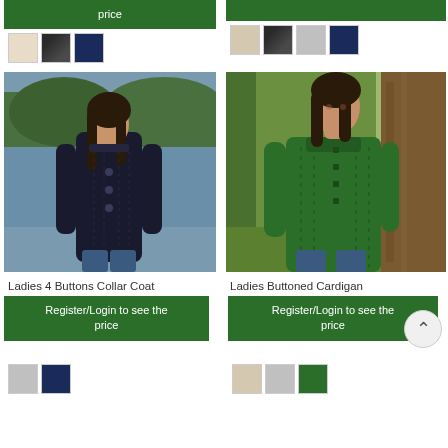[Figure (screenshot): E-commerce product listing page showing woolen ladies coats and cardigans with green Register/Login price buttons and color swatches]
Register/Login to see the price
Ladies 4 Buttons Collar Coat
Register/Login to see the price
Ladies Buttoned Cardigan
Register/Login to see the price
Register/Login to see the price